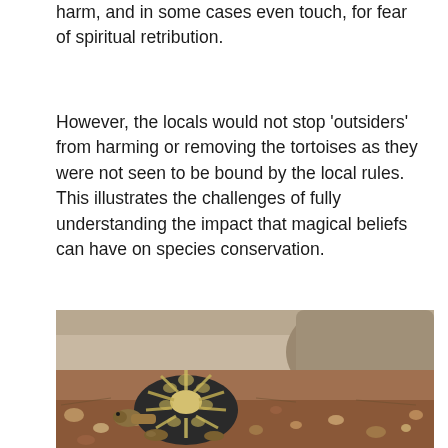harm, and in some cases even touch, for fear of spiritual retribution.
However, the locals would not stop 'outsiders' from harming or removing the tortoises as they were not seen to be bound by the local rules. This illustrates the challenges of fully understanding the impact that magical beliefs can have on species conservation.
[Figure (photo): A radiated tortoise walking on rocky red-brown earth, with rocks and a stone cliff or boulder in the background. The tortoise has a distinctive star-patterned shell with dark background and light radiating lines.]